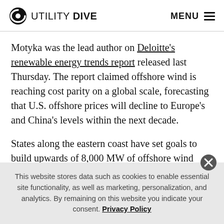UTILITY DIVE  MENU
Motyka was the lead author on Deloitte’s renewable energy trends report released last Thursday. The report claimed offshore wind is reaching cost parity on a global scale, forecasting that U.S. offshore prices will decline to Europe’s and China’s levels within the next decade.
States along the eastern coast have set goals to build upwards of 8,000 MW of offshore wind capacity,
This website stores data such as cookies to enable essential site functionality, as well as marketing, personalization, and analytics. By remaining on this website you indicate your consent. Privacy Policy